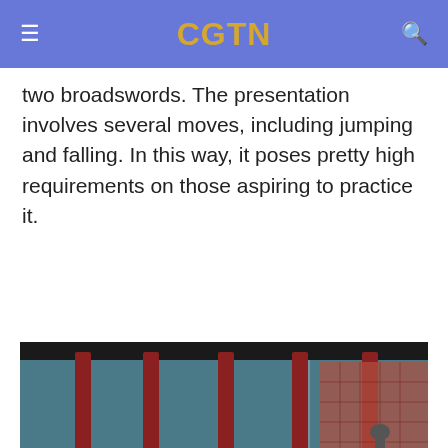CGTN
two broadswords. The presentation involves several moves, including jumping and falling. In this way, it poses pretty high requirements on those aspiring to practice it.
[Figure (photo): Photo of a traditional Chinese building with red columns and ornate architecture. Image contains a CGTN watermark. Caption: Shi Yanliang excels at double broadsword. /CGTN]
Shi Yanliang excels at double broadsword. /CGTN
The first thing is the control of the body